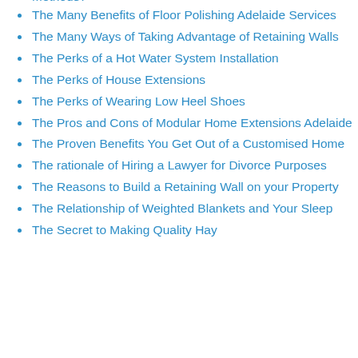Methods?
The Many Benefits of Floor Polishing Adelaide Services
The Many Ways of Taking Advantage of Retaining Walls
The Perks of a Hot Water System Installation
The Perks of House Extensions
The Perks of Wearing Low Heel Shoes
The Pros and Cons of Modular Home Extensions Adelaide
The Proven Benefits You Get Out of a Customised Home
The rationale of Hiring a Lawyer for Divorce Purposes
The Reasons to Build a Retaining Wall on your Property
The Relationship of Weighted Blankets and Your Sleep
The Secret to Making Quality Hay